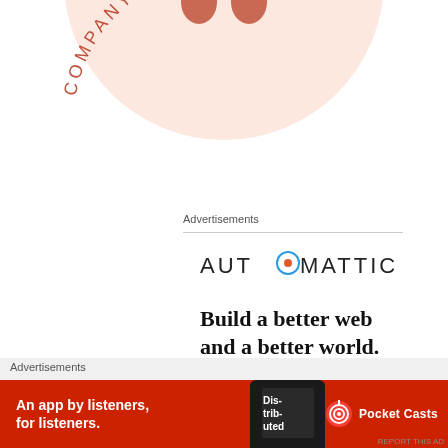[Figure (logo): Company of Books circular logo, salmon/pink color with text curved around circle]
Advertisements
[Figure (logo): Automattic logo in uppercase letters with a target/compass icon replacing the 'O']
Build a better web and a better world.
Advertisements
[Figure (illustration): Pocket Casts advertisement banner: red background, 'An app by listeners, for listeners.' text, phone image showing 'Distributed' text, Pocket Casts logo]